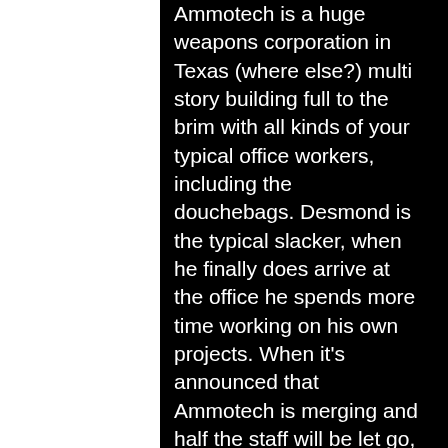Ammotech is a huge weapons corporation in Texas (where else?) multi story building full to the brim with all kinds of your typical office workers, including the douchebags. Desmond is the typical slacker, when he finally does arrive at the office he spends more time working on his own projects. When it's announced that Ammotech is merging and half the staff will be let go, there is a certain unease in the office. Only to be trumped by the staff at Ammotech becoming guinea pigs in a new weapons trial.

Naturally, chaos ensues and Desmond has to figure out how to extricate himself in one...